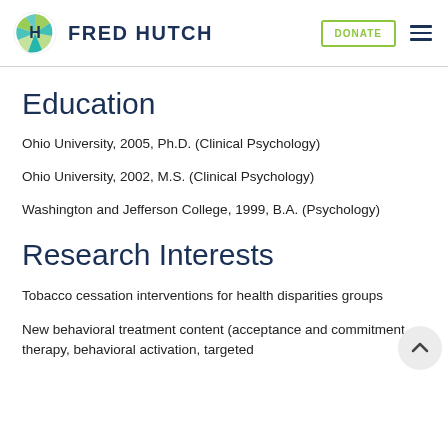FRED HUTCH
Education
Ohio University, 2005, Ph.D. (Clinical Psychology)
Ohio University, 2002, M.S. (Clinical Psychology)
Washington and Jefferson College, 1999, B.A. (Psychology)
Research Interests
Tobacco cessation interventions for health disparities groups
New behavioral treatment content (acceptance and commitment therapy, behavioral activation, targeted